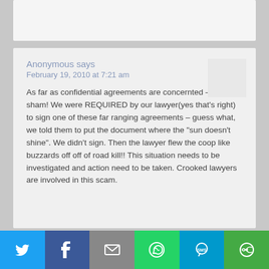Anonymous says
February 19, 2010 at 7:21 am
As far as confidential agreements are concernted – it's a sham! We were REQUIRED by our lawyer(yes that's right) to sign one of these far ranging agreements – guess what, we told them to put the document where the "sun doesn't shine". We didn't sign. Then the lawyer flew the coop like buzzards off off of road kill!! This situation needs to be investigated and action need to be taken. Crooked lawyers are involved in this scam.
[Figure (other): Social share bar with Twitter, Facebook, Email, WhatsApp, SMS, and More buttons]